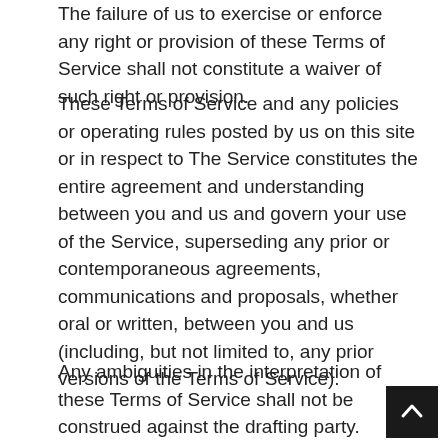The failure of us to exercise or enforce any right or provision of these Terms of Service shall not constitute a waiver of such right or provision.
These Terms of Service and any policies or operating rules posted by us on this site or in respect to The Service constitutes the entire agreement and understanding between you and us and govern your use of the Service, superseding any prior or contemporaneous agreements, communications and proposals, whether oral or written, between you and us (including, but not limited to, any prior versions of the Terms of Service).
Any ambiguities in the interpretation of these Terms of Service shall not be construed against the drafting party.
SECTION 18 - GOVERNING LAW
These Terms of Service and any separate agreements whereby we provide you Services shall be governed by and construed in accordance with the laws of South Korea.